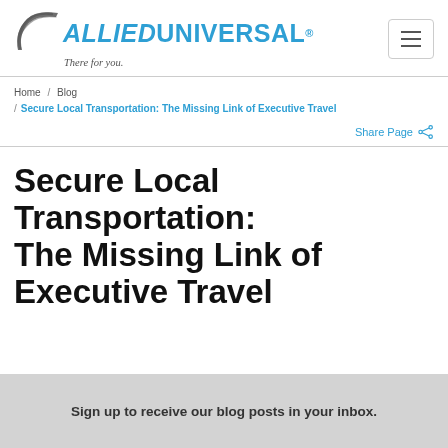[Figure (logo): Allied Universal logo with arc swoosh graphic, wordmark 'ALLIED UNIVERSAL' and tagline 'There for you.']
Home / Blog / Secure Local Transportation: The Missing Link of Executive Travel
Share Page
Secure Local Transportation: The Missing Link of Executive Travel
Sign up to receive our blog posts in your inbox.